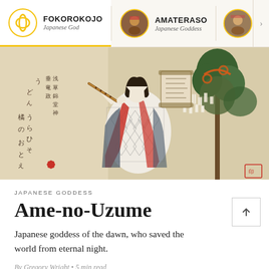FOKOROKOJO Japanese God | AMATERASO Japanese Goddess | AME-N... Japanese Go...
[Figure (illustration): Japanese woodblock print of a woman (Ame-no-Uzume) in traditional robes playing a musical instrument, with Japanese calligraphy on the left and a sacred tree with offerings on the right]
JAPANESE GODDESS
Ame-no-Uzume
Japanese goddess of the dawn, who saved the world from eternal night.
By Gregory Wright • 5 min read